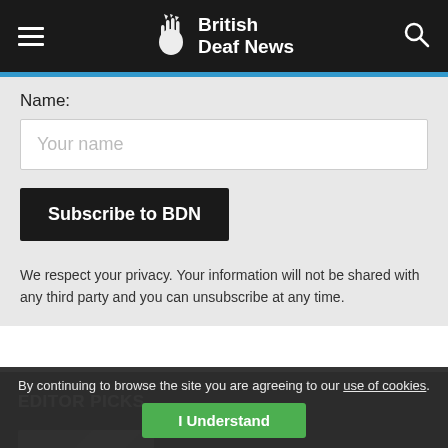British Deaf News
Name:
Your name
Subscribe to BDN
We respect your privacy. Your information will not be shared with any third party and you can unsubscribe at any time.
EDITOR PICKS
[Figure (photo): Thumbnail image for editor picks article]
By continuing to browse the site you are agreeing to our use of cookies.
I Understand